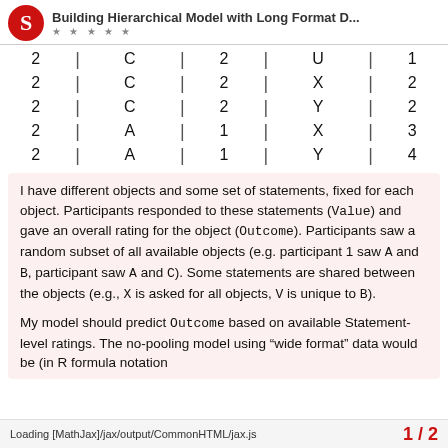Building Hierarchical Model with Long Format D...
| 2 | | | C | | | 2 | | | U | | | 1 |
| 2 | | | C | | | 2 | | | X | | | 2 |
| 2 | | | C | | | 2 | | | Y | | | 2 |
| 2 | | | A | | | 1 | | | X | | | 3 |
| 2 | | | A | | | 1 | | | Y | | | 4 |
I have different objects and some set of statements, fixed for each object. Participants responded to these statements (Value) and gave an overall rating for the object (Outcome). Participants saw a random subset of all available objects (e.g. participant 1 saw A and B, participant saw A and C). Some statements are shared between the objects (e.g., X is asked for all objects, V is unique to B).
My model should predict Outcome based on available Statement-level ratings. The no-pooling model using "wide format" data would be (in R formula notatio...
Loading [MathJax]/jax/output/CommonHTML/jax.js   1 / 2